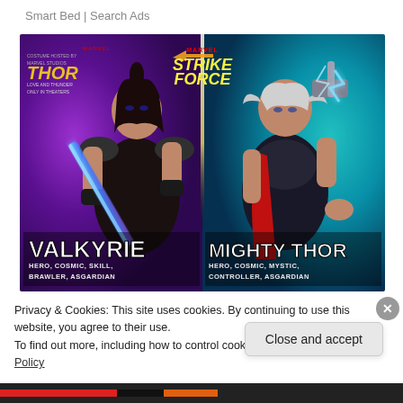Smart Bed | Search Ads
[Figure (illustration): Marvel Strike Force game advertisement featuring two characters: Valkyrie (left, dark-haired warrior with blue sword, purple background) with tags HERO, COSMIC, SKILL, BRAWLER, ASGARDIAN and Mighty Thor (right, armored female Thor with hammer, teal background) with tags HERO, COSMIC, MYSTIC, CONTROLLER, ASGARDIAN. Thor: Love and Thunder movie tie-in. Marvel Strike Force logo at top center.]
Privacy & Cookies: This site uses cookies. By continuing to use this website, you agree to their use.
To find out more, including how to control cookies, see here: Cookie Policy
Close and accept